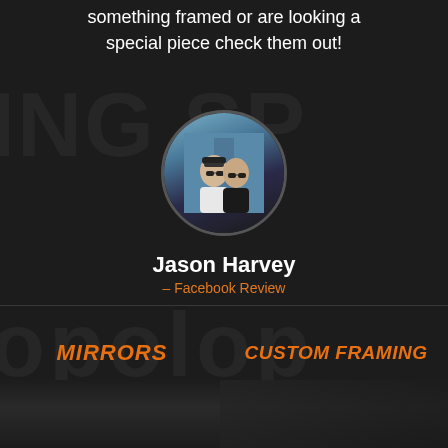something framed or are looking a special piece check them out!
[Figure (photo): Circular profile photo of two people (man and woman) wearing sunglasses outdoors]
Jason Harvey
– Facebook Review
MIRRORS
CUSTOM FRAMING
LAMINATING
CANVAS STRETCHING